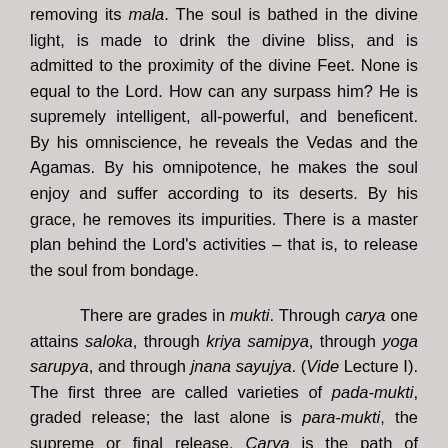removing its mala. The soul is bathed in the divine light, is made to drink the divine bliss, and is admitted to the proximity of the divine Feet. None is equal to the Lord. How can any surpass him? He is supremely intelligent, all-powerful, and beneficent. By his omniscience, he reveals the Vedas and the Agamas. By his omnipotence, he makes the soul enjoy and suffer according to its deserts. By his grace, he removes its impurities. There is a master plan behind the Lord's activities – that is, to release the soul from bondage.
There are grades in mukti. Through carya one attains saloka, through kriya samipya, through yoga sarupya, and through jnana sayujya. (Vide Lecture I). The first three are called varieties of pada-mukti, graded release; the last alone is para-mukti, the supreme or final release. Carya is the path of external service to God in his temples. Scrubbing and cleaning the temples,